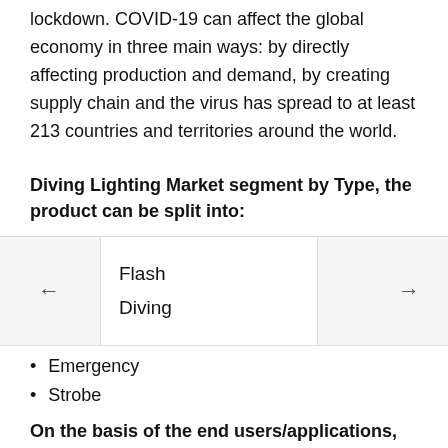lockdown. COVID-19 can affect the global economy in three main ways: by directly affecting production and demand, by creating supply chain and the virus has spread to at least 213 countries and territories around the world.
Diving Lighting Market segment by Type, the product can be split into:
Flash
Diving
Emergency
Strobe
For Interior Lighting
Man Overboard
On the basis of the end users/applications, this